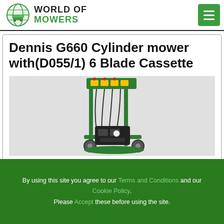World of Mowers
Dennis G660 Cylinder mower with(D055/1) 6 Blade Cassette
[Figure (photo): Photo of a Dennis G660 Cylinder mower with green frame, yellow control levers on top, wires, and black engine motor at the bottom]
By using this site you agree to our Terms and Conditions and our Cookie Policy. Please Accept these before using the site.